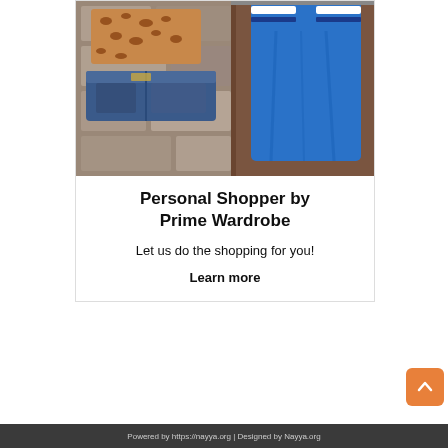[Figure (photo): Photo of clothing items: leopard print boots/shoes, folded denim jeans on stone steps, and a blue dress/outfit hanging on a rack with white and navy stripes at the shoulder]
Personal Shopper by Prime Wardrobe
Let us do the shopping for you!
Learn more
Powered by https://nayya.org | Designed by Nayya.org